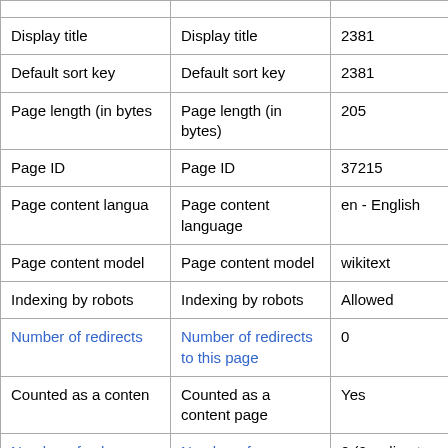| Display title | Display title | 2381 |
| Default sort key | Default sort key | 2381 |
| Page length (in bytes) | Page length (in bytes) | 205 |
| Page ID | Page ID | 37215 |
| Page content language | Page content language | en - English |
| Page content model | Page content model | wikitext |
| Indexing by robots | Indexing by robots | Allowed |
| Number of redirects | Number of redirects to this page | 0 |
| Counted as a content page | Counted as a content page | Yes |
| Number of subpages | Number of subpages of this... | 0 (0 redirects; 0 |